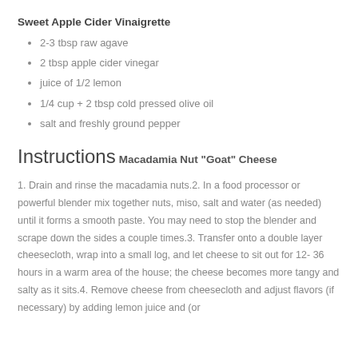Sweet Apple Cider Vinaigrette
2-3 tbsp raw agave
2 tbsp apple cider vinegar
juice of 1/2 lemon
1/4 cup + 2 tbsp cold pressed olive oil
salt and freshly ground pepper
Instructions
Macadamia Nut "Goat" Cheese
1. Drain and rinse the macadamia nuts.2. In a food processor or powerful blender mix together nuts, miso, salt and water (as needed) until it forms a smooth paste. You may need to stop the blender and scrape down the sides a couple times.3. Transfer onto a double layer cheesecloth, wrap into a small log, and let cheese to sit out for 12- 36 hours in a warm area of the house; the cheese becomes more tangy and salty as it sits.4. Remove cheese from cheesecloth and adjust flavors (if necessary) by adding lemon juice and (or